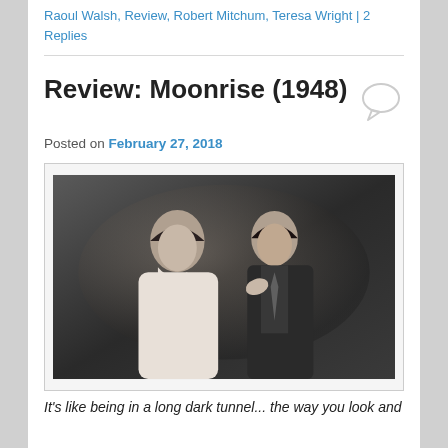Raoul Walsh, Review, Robert Mitchum, Teresa Wright | 2 Replies
Review: Moonrise (1948)
Posted on February 27, 2018
[Figure (photo): Black and white still from the 1948 film Moonrise showing a woman in a white dress and a man in a suit facing each other closely]
It's like being in a long dark tunnel... the way you look and